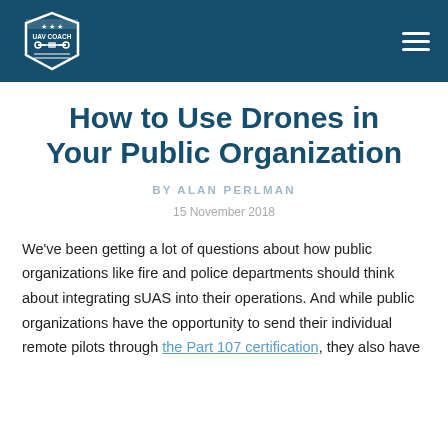UAV COACH [logo]
How to Use Drones in Your Public Organization
BY ALAN PERLMAN
15 November 2018
We've been getting a lot of questions about how public organizations like fire and police departments should think about integrating sUAS into their operations. And while public organizations have the opportunity to send their individual remote pilots through the Part 107 certification, they also have